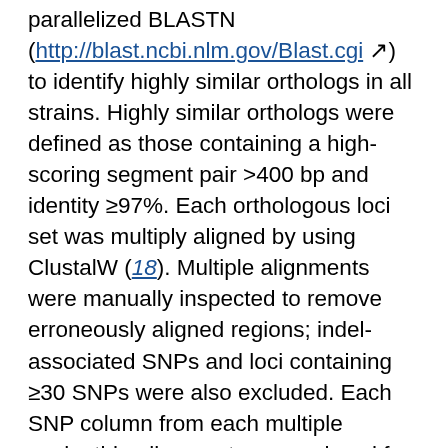parallelized BLASTN (http://blast.ncbi.nlm.gov/Blast.cgi) to identify highly similar orthologs in all strains. Highly similar orthologs were defined as those containing a high-scoring segment pair >400 bp and identity ≥97%. Each orthologous loci set was multiply aligned by using ClustalW (18). Multiple alignments were manually inspected to remove erroneously aligned regions; indel-associated SNPs and loci containing ≥30 SNPs were also excluded. Each SNP column from each multiple nucleotide alignment was analyzed for hqSNPs, defined as those containing no gaps or ambiguous basecalls, and having an adjusted quality score >90 (of a maximum score of 93). A total of 4,376 hqSNPs were identified from 632 orthologous loci and extracted from the alignments to prepare a compressed pseudoalignment composed of hqSNPs (Technical Appendix 1). This pseudoalignment was